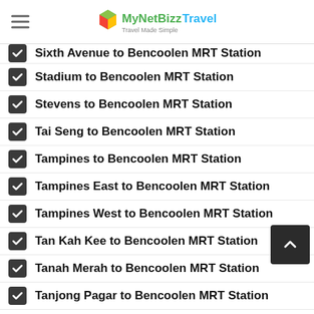MyNetBizz Travel — Travel Made Simple
Sixth Avenue to Bencoolen MRT Station
Stadium to Bencoolen MRT Station
Stevens to Bencoolen MRT Station
Tai Seng to Bencoolen MRT Station
Tampines to Bencoolen MRT Station
Tampines East to Bencoolen MRT Station
Tampines West to Bencoolen MRT Station
Tan Kah Kee to Bencoolen MRT Station
Tanah Merah to Bencoolen MRT Station
Tanjong Pagar to Bencoolen MRT Station
Telok Ayer to Bencoolen MRT Station
Telok Blangah to Bencoolen MRT Station
Tiong Bahru to Bencoolen MRT Station